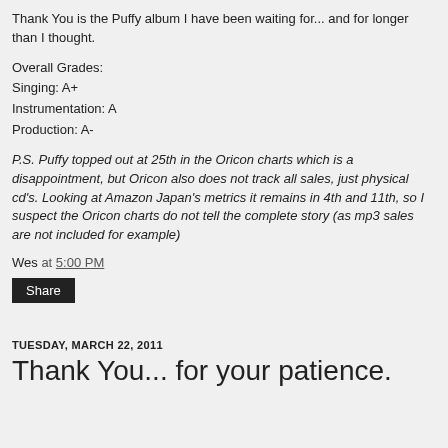Thank You is the Puffy album I have been waiting for... and for longer than I thought.
Overall Grades:
Singing: A+
Instrumentation: A
Production: A-
P.S. Puffy topped out at 25th in the Oricon charts which is a disappointment, but Oricon also does not track all sales, just physical cd's. Looking at Amazon Japan's metrics it remains in 4th and 11th, so I suspect the Oricon charts do not tell the complete story (as mp3 sales are not included for example)
Wes at 5:00 PM
Share
TUESDAY, MARCH 22, 2011
Thank You... for your patience.